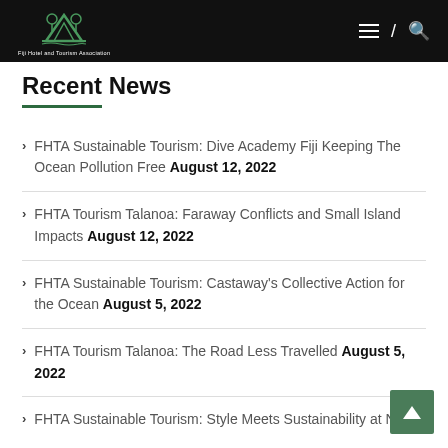[Figure (logo): Fiji Hotel and Tourism Association logo — green mountain/palm tree icon with white text below on black header bar]
Recent News
FHTA Sustainable Tourism: Dive Academy Fiji Keeping The Ocean Pollution Free August 12, 2022
FHTA Tourism Talanoa: Faraway Conflicts and Small Island Impacts August 12, 2022
FHTA Sustainable Tourism: Castaway's Collective Action for the Ocean August 5, 2022
FHTA Tourism Talanoa: The Road Less Travelled August 5, 2022
FHTA Sustainable Tourism: Style Meets Sustainability at New-